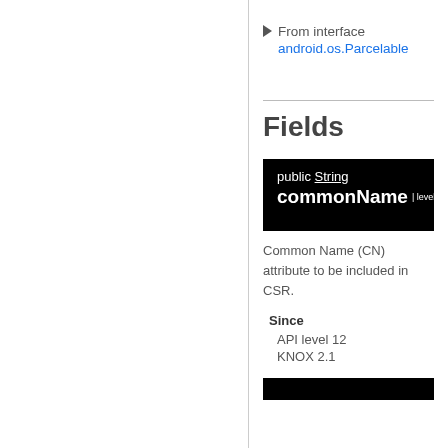From interface android.os.Parcelable
Fields
public String commonName | level 12
Common Name (CN) attribute to be included in CSR.
Since
API level 12
KNOX 2.1